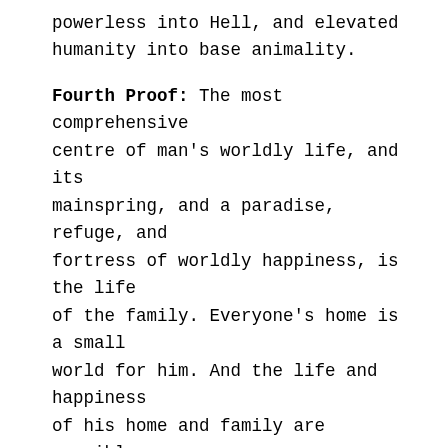powerless into Hell, and elevated humanity into base animality.
Fourth Proof: The most comprehensive centre of man's worldly life, and its mainspring, and a paradise, refuge, and fortress of worldly happiness, is the life of the family. Everyone's home is a small world for him. And the life and happiness of his home and family are possible through genuine, earnest, and loyal respect and true, tender, and self-sacrificing compassion. This true respect and genuine kindness may be achieved with the idea of the members of the family having an everlasting companionship and friendship and